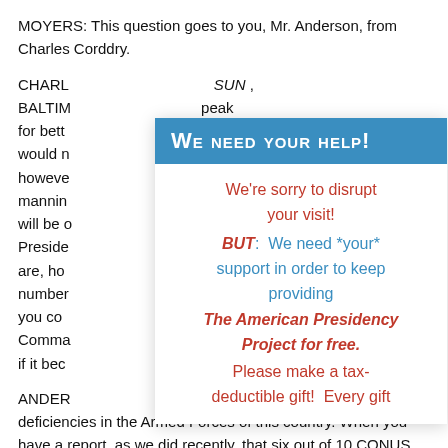MOYERS: This question goes to you, Mr. Anderson, from Charles Corddry.
CHARLES: I am Jack Anderson of the SUN, BALTIMORE SUN, and I speak for better government. There are some questions that would normally ask of you, however the problem of manning the military, the burden will be on the next President, and conditions are, how do you compile with numbers, will you command, the Commander in Chief is popular, if it becomes popular?
[Figure (infographic): A pop-up overlay with blue header 'WE NEED YOUR HELP!' and body text: 'We're sorry to disrupt your visit! BUT: We need *your* support in order to keep providing The American Presidency Project for free. Please make a tax-deductible gift! Every gift']
ANDERSON: ...deficiencies in the Armed Forces of this country. When you have a report, as we did recently, that six out of 10 CONUS Divisions in this country - Continental United States Army